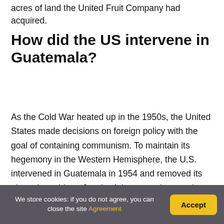acres of land the United Fruit Company had acquired.
How did the US intervene in Guatemala?
As the Cold War heated up in the 1950s, the United States made decisions on foreign policy with the goal of containing communism. To maintain its hegemony in the Western Hemisphere, the U.S. intervened in Guatemala in 1954 and removed its elected president, Jacobo Arbenz, on the premise that he was soft on communism.
We store cookies: if you do not agree, you can close the site Agreement